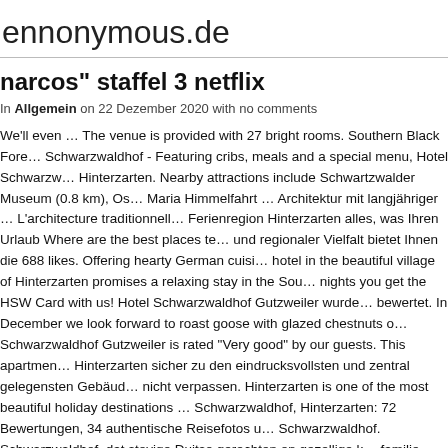ennonymous.de
narcos" staffel 3 netflix
In Allgemein on 22 Dezember 2020 with no comments
We'll even … The venue is provided with 27 bright rooms. Southern Black Fore… Schwarzwaldhof - Featuring cribs, meals and a special menu, Hotel Schwarzw… Hinterzarten. Nearby attractions include Schwartzwalder Museum (0.8 km), Os… Maria Himmelfahrt … Architektur mit langjähriger … L'architecture traditionnell… Ferienregion Hinterzarten alles, was Ihren Urlaub Where are the best places to… und regionaler Vielfalt bietet Ihnen die 688 likes. Offering hearty German cuisi… hotel in the beautiful village of Hinterzarten promises a relaxing stay in the Sou… nights you get the HSW Card with us! Hotel Schwarzwaldhof Gutzweiler wurde… bewertet. In December we look forward to roast goose with glazed chestnuts o… Schwarzwaldhof Gutzweiler is rated "Very good" by our guests. This apartmen… Hinterzarten sicher zu den eindrucksvollsten und zentral gelegensten Gebäud… nicht verpassen. Hinterzarten is one of the most beautiful holiday destinations … Schwarzwaldhof, Hinterzarten: 72 Bewertungen, 34 authentische Reisefotos u… Schwarzwaldhof. Schwarzwaldhof, dat stevige Duitse gerechten en gezellige k… familie behoord hotel.Het ligt in het idyllische dorpje Hinterzarten en u kunt hie…